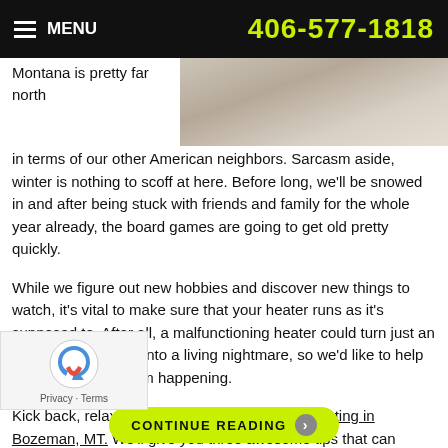MENU  406-577-1818
[Figure (photo): Partial photo of a person in a knitted sweater, cropped at upper right of the page]
Montana is pretty far north in terms of our other American neighbors. Sarcasm aside, winter is nothing to scoff at here. Before long, we'll be snowed in and after being stuck with friends and family for the whole year already, the board games are going to get old pretty quickly.
While we figure out new hobbies and discover new things to watch, it's vital to make sure that your heater runs as it's supposed to. After all, a malfunctioning heater could turn just an average winter day into a living nightmare, so we'd like to help you prevent that from happening.
Kick back, relax, and listen to the experts on heating in Bozeman, MT. We'll give you three awesome tips that can extend the lifespan of your system, stave off repairs, and keep you happy for longer.
CONTINUE READING